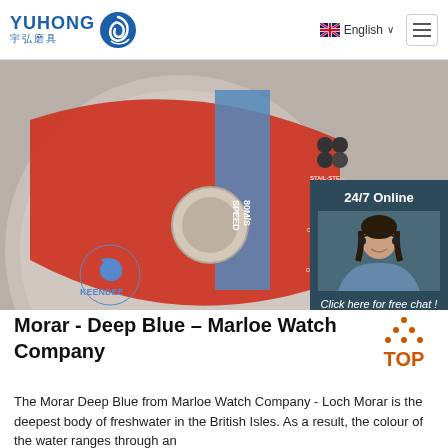YUHONG 宇弘磨具 | English | Menu
[Figure (photo): Keendee abrasive cutting wheel disc with red label showing WARNING text, SPEED 80M/S, with barcode visible. Side chat widget showing 24/7 Online and a customer service representative photo.]
Morar - Deep Blue – Marloe Watch Company
The Morar Deep Blue from Marloe Watch Company - Loch Morar is the deepest body of freshwater in the British Isles. As a result, the colour of the water ranges through an